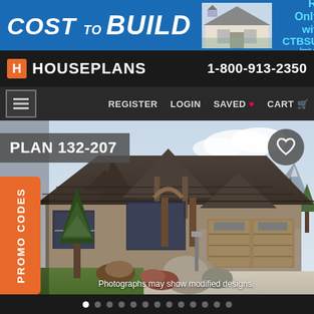[Figure (screenshot): Cost to Build banner advertisement with house photo. Text: 'COST to BUILD - Reports Only $4.99 with code CTBSUMMER - limit one per order']
HOUSEPLANS   1-800-913-2350
[Figure (screenshot): Navigation bar with hamburger menu, REGISTER, LOGIN, SAVED (heart icon), CART (cart icon)]
[Figure (photo): Large photo of a craftsman/mountain style house with wood and stone details, dark roof shingles, two-car garage, mountain backdrop. Overlay text: PLAN 132-207. Orange PROMO CODES tab on left side. Heart/save button top right.]
Photographs may show modified designs.
[Figure (other): Slideshow navigation dots, first dot highlighted white, rest grey]